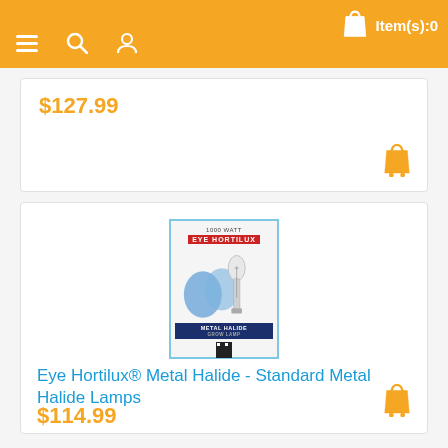☰  🔍  👤  Item(s):0
$127.99
[Figure (photo): Eye Hortilux Metal Halide grow lamp product package with bulb visible, blue border packaging showing HORTILUX brand name, 1000 watt label, and METAL HALIDE GROW LAMP text]
Eye Hortilux® Metal Halide - Standard Metal Halide Lamps
$114.99